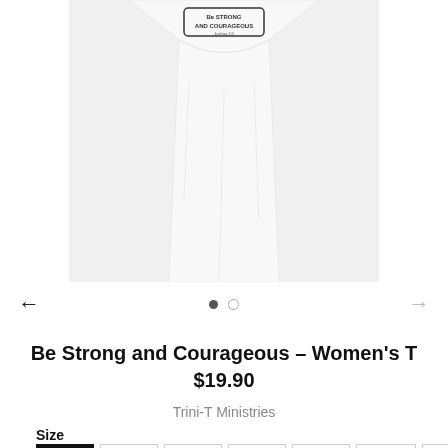[Figure (photo): White women's t-shirt with 'Be Strong and Courageous' graphic print on the chest, shown on a white background. Only the upper body/torso portion of the shirt is visible.]
Be Strong and Courageous – Women's T
$19.90
Trini-T Ministries
Size
XS  S  M  L  XL  2XL  3XL